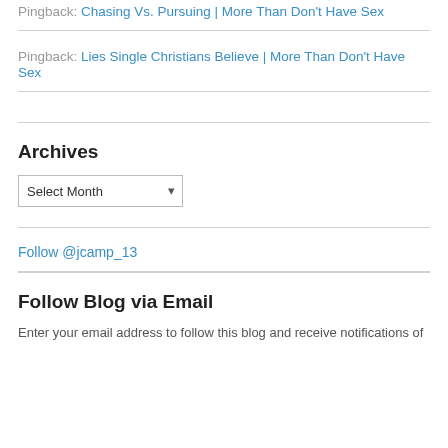Pingback: Chasing Vs. Pursuing | More Than Don't Have Sex
Pingback: Lies Single Christians Believe | More Than Don't Have Sex
Archives
Follow @jcamp_13
Follow Blog via Email
Enter your email address to follow this blog and receive notifications of